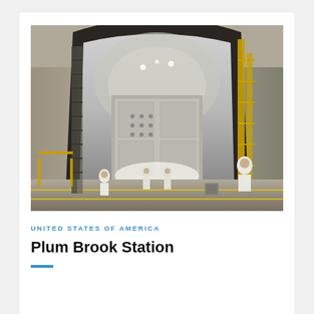[Figure (photo): Interior of NASA Plum Brook Station large space environment chamber, showing workers in white cleanroom suits standing inside a massive spherical vacuum chamber with a huge open door/hatch. The chamber has a circular arched opening, with concrete walls, metal scaffolding on the sides, yellow railings, and a reflective metallic interior surface. Multiple people are visible at floor level giving scale to the enormous facility.]
UNITED STATES OF AMERICA
Plum Brook Station